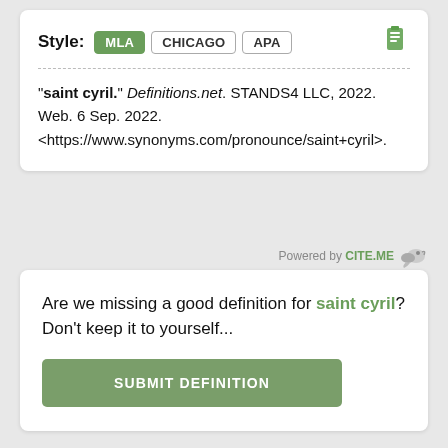Style: MLA CHICAGO APA
"saint cyril." Definitions.net. STANDS4 LLC, 2022. Web. 6 Sep. 2022. <https://www.synonyms.com/pronounce/saint+cyril>.
Powered by CITE.ME
Are we missing a good definition for saint cyril? Don't keep it to yourself...
SUBMIT DEFINITION